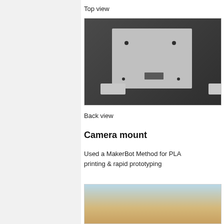Top view
[Figure (photo): 3D render of a camera mount showing top/back view with mounting plate, two holes, a slot, and foot brackets on a dark background]
Back view
Camera mount
Used a MakerBot Method for PLA printing & rapid prototyping
[Figure (photo): Partial photo of a 3D printed camera mount (PLA), showing tan/beige colored print on light background]